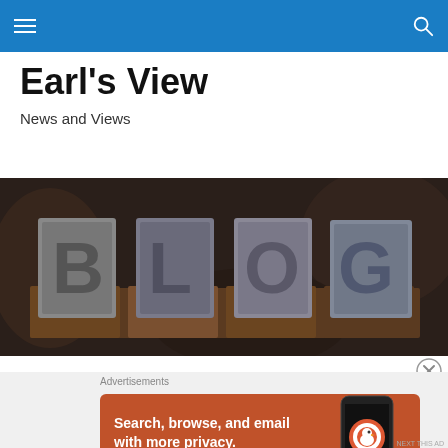Earl's View - Navigation bar with hamburger menu and search icon
Earl's View
News and Views
[Figure (photo): Large metallic 3D letters spelling BLOG on wooden blocks with dark bokeh background]
Advertisements
[Figure (other): DuckDuckGo advertisement banner: Search, browse, and email with more privacy. All in One Free App. Shows DuckDuckGo logo on phone mockup on orange/red background.]